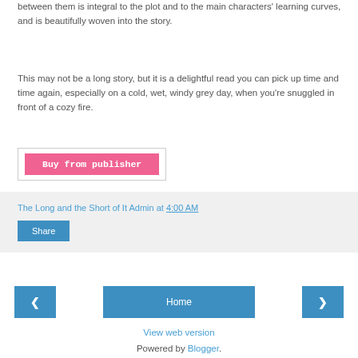between them is integral to the plot and to the main characters' learning curves, and is beautifully woven into the story.
This may not be a long story, but it is a delightful read you can pick up time and time again, especially on a cold, wet, windy grey day, when you're snuggled in front of a cozy fire.
[Figure (other): Pink 'Buy from publisher' button inside a bordered box]
The Long and the Short of It Admin at 4:00 AM
Share
◄   Home   ►   View web version   Powered by Blogger.